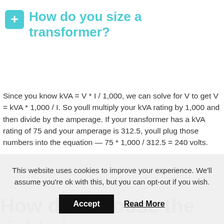How do you size a transformer?
Since you know kVA = V * I / 1,000, we can solve for V to get V = kVA * 1,000 / I. So youll multiply your kVA rating by 1,000 and then divide by the amperage. If your transformer has a kVA rating of 75 and your amperage is 312.5, youll plug those numbers into the equation — 75 * 1,000 / 312.5 = 240 volts.
How do I choose the right size transformer?
This website uses cookies to improve your experience. We'll assume you're ok with this, but you can opt-out if you wish.